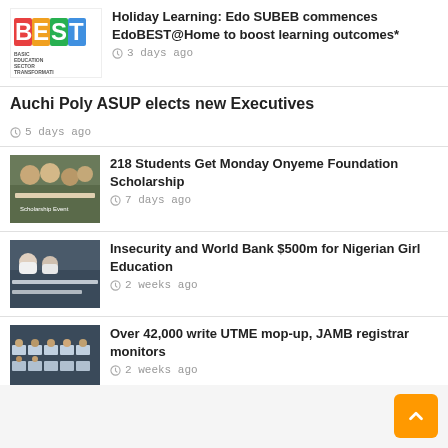[Figure (logo): BEST - Basic Education Sector Transformation logo with colorful letters]
Holiday Learning: Edo SUBEB commences EdoBEST@Home to boost learning outcomes*
3 days ago
Auchi Poly ASUP elects new Executives
5 days ago
[Figure (photo): Group of students and people gathered outdoors at a scholarship event]
218 Students Get Monday Onyeme Foundation Scholarship
7 days ago
[Figure (photo): Young girls in hijabs studying or writing in a classroom]
Insecurity and World Bank $500m for Nigerian Girl Education
2 weeks ago
[Figure (photo): Students sitting at computers in a computer lab/examination hall]
Over 42,000 write UTME mop-up, JAMB registrar monitors
2 weeks ago